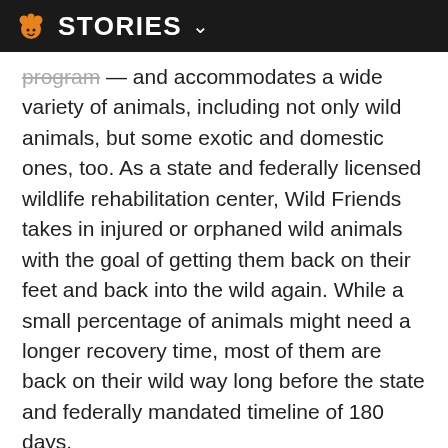STORIES
program — and accommodates a wide variety of animals, including not only wild animals, but some exotic and domestic ones, too. As a state and federally licensed wildlife rehabilitation center, Wild Friends takes in injured or orphaned wild animals with the goal of getting them back on their feet and back into the wild again. While a small percentage of animals might need a longer recovery time, most of them are back on their wild way long before the state and federally mandated timeline of 180 days.

Because wild animals tend to be born in the spring, May through August are peak months for orphaned wildlife. During that period, Wild Friends' rehabilitators spend a